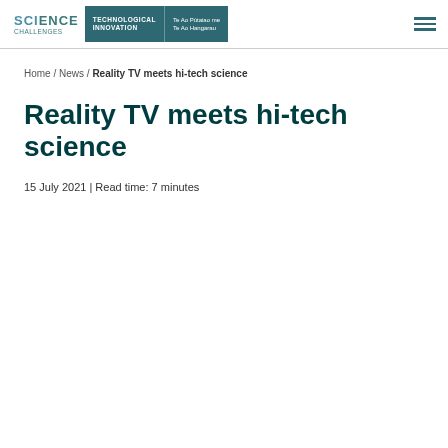Science Challenges — Technological Innovation | Te Ao Pūtaiao me Te Ao Hangarau
Home / News / Reality TV meets hi-tech science
Reality TV meets hi-tech science
15 July 2021 | Read time: 7 minutes